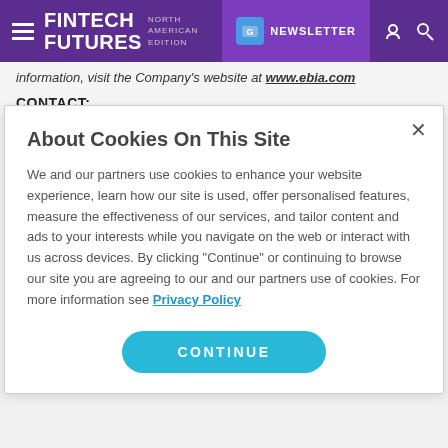FINTECH FUTURES NORTH AMERICAN EDITION | NEWSLETTER
information, visit the Company's website at www.ebia.com
CONTACT:
About Cookies On This Site
We and our partners use cookies to enhance your website experience, learn how our site is used, offer personalised features, measure the effectiveness of our services, and tailor content and ads to your interests while you navigate on the web or interact with us across devices. By clicking "Continue" or continuing to browse our site you are agreeing to our and our partners use of cookies. For more information see Privacy Policy
CONTINUE